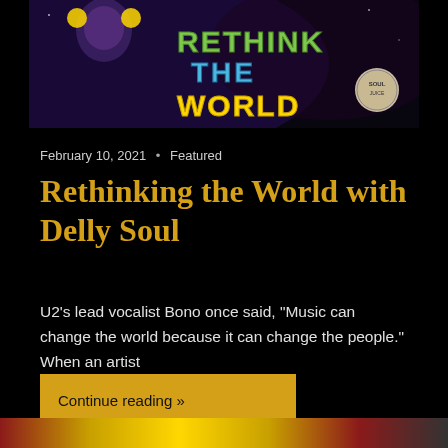[Figure (photo): A dark background image with colorful graffiti-style text reading 'RETHINK THE WORLD' in green, blue, and yellow lettering, with a cartoon character on the left and a small circular logo on the right.]
February 10, 2021  •  Featured
Rethinking the World with Delly Soul
U2's lead vocalist Bono once said, “Music can change the world because it can change the people.” When an artist
Continue reading »
[Figure (photo): Partial bottom image showing colorful text partially visible at the bottom edge of the page.]